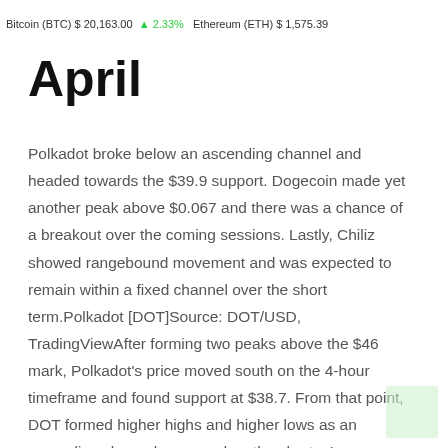Bitcoin (BTC) $ 20,163.00  +2.33%  Ethereum (ETH) $ 1,575.39
Price Analysis: 11 April
Polkadot broke below an ascending channel and headed towards the $39.9 support. Dogecoin made yet another peak above $0.067 and there was a chance of a breakout over the coming sessions. Lastly, Chiliz showed rangebound movement and was expected to remain within a fixed channel over the short term.Polkadot [DOT]Source: DOT/USD, TradingViewAfter forming two peaks above the $46 mark, Polkadot's price moved south on the 4-hour timeframe and found support at $38.7. From that point, DOT formed higher highs and higher lows as an ascending channel appeared on the charts. In